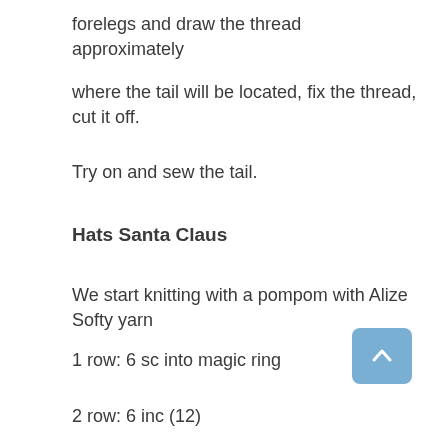forelegs and draw the thread approximately
where the tail will be located, fix the thread, cut it off.
Try on and sew the tail.
Hats Santa Claus
We start knitting with a pompom with Alize Softy yarn
1 row: 6 sc into magic ring
2 row: 6 inc (12)
3-5 row (3 rows): 12 sc
6 row: 6 dec (6) change the thread to the edge,